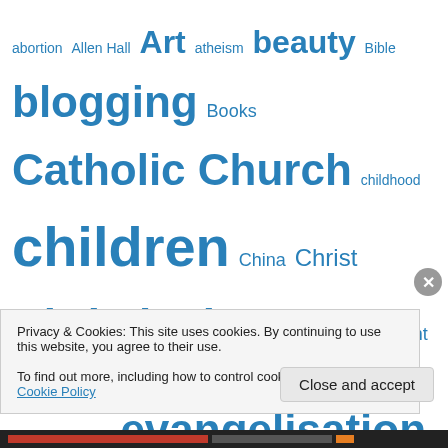[Figure (infographic): Tag cloud with words of varying sizes in blue, related to religion, culture, and society topics. Words include: abortion, Allen Hall, Art, atheism, beauty, Bible, blogging, Books, Catholic Church, childhood, children, China, Christ, Christianity, cinema, commitment, communication, conversion, culture, ethics, evangelisation, Facebook, faith, family, Film, freedom, friendship, God, Google, happiness, hope, internet, Jesus, justice, language, life, London, love, marriage, media, mission, Morality, New...]
Privacy & Cookies: This site uses cookies. By continuing to use this website, you agree to their use.
To find out more, including how to control cookies, see here: Cookie Policy
Close and accept